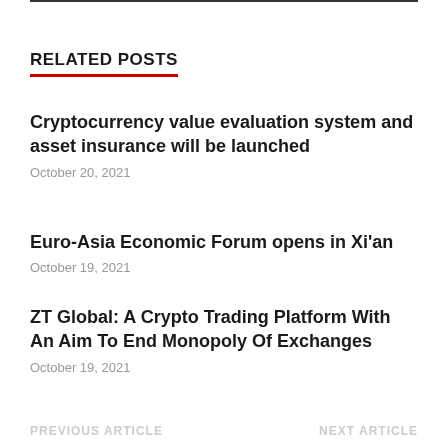RELATED POSTS
Cryptocurrency value evaluation system and asset insurance will be launched
October 20, 2021
Euro-Asia Economic Forum opens in Xi'an
October 19, 2021
ZT Global: A Crypto Trading Platform With An Aim To End Monopoly Of Exchanges
October 19, 2021
PREVIOUS ARTICLE    NEXT ARTICLE